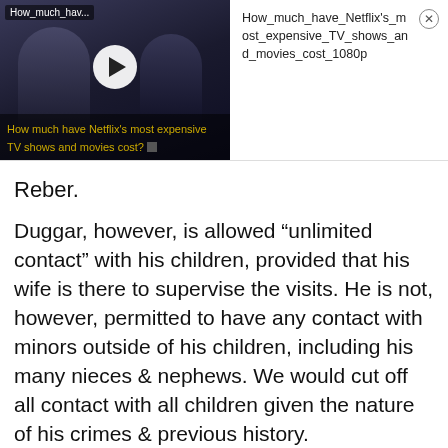[Figure (screenshot): Video thumbnail showing two figures in dark/royal setting with play button overlay, labeled 'How_much_hav...' at top left. Title text reads 'How much have Netflix's most expensive TV shows and movies cost?' overlaid at bottom.]
How_much_have_Netflix's_most_expensive_TV_shows_and_movies_cost_1080p
Reber.
Duggar, however, is allowed “unlimited contact” with his children, provided that his wife is there to supervise the visits. He is not, however, permitted to have any contact with minors outside of his children, including his many nieces & nephews. We would cut off all contact with all children given the nature of his crimes & previous history.